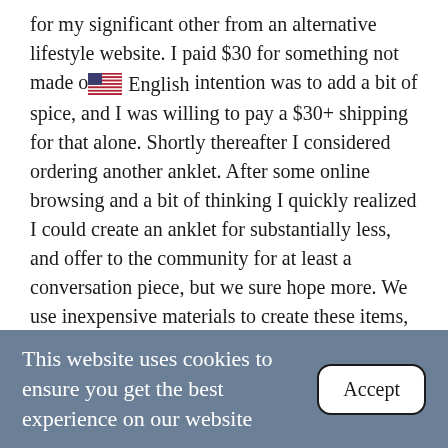for my significant other from an alternative lifestyle website. I paid $30 for something not made of [flag] English intention was to add a bit of spice, and I was willing to pay a $30+ shipping for that alone. Shortly thereafter I considered ordering another anklet. After some online browsing and a bit of thinking I quickly realized I could create an anklet for substantially less, and offer to the community for at least a conversation piece, but we sure hope more. We use inexpensive materials to create these items, and we hope you have some fun with your purchases. We are investigating using silver and/or gold for future designs, but as you can imagine, those costs increase substantially. So whether you have been discussing some wild fantasies, or actually live them, our anklets can create that added touch, and we do that inexpensively for you. Shipping Most orders before noon are packed, shipped, and in the post office hands
This website uses cookies to ensure you get the best experience on our website